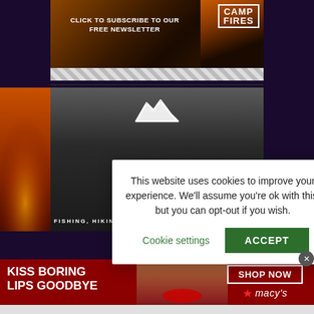[Figure (screenshot): Newsletter subscription banner with dark forest/campfire background and 'CAMP FIRES' logo, text reads 'CLICK TO SUBSCRIBE TO OUR FREE NEWSLETTER']
[Figure (screenshot): Outdoor magazine section with mountain logo silhouette, orange accent text 'A B' and tagline 'FISHING, HIKING, KAYAKING, OFF-ROAD + CAMPING']
This website uses cookies to improve your experience. We'll assume you're ok with this, but you can opt-out if you wish.
Cookie settings
ACCEPT
[Figure (screenshot): Macy's advertisement banner with red background, 'KISS BORING LIPS GOODBYE' text, model face, 'SHOP NOW' button and Macy's logo with star]